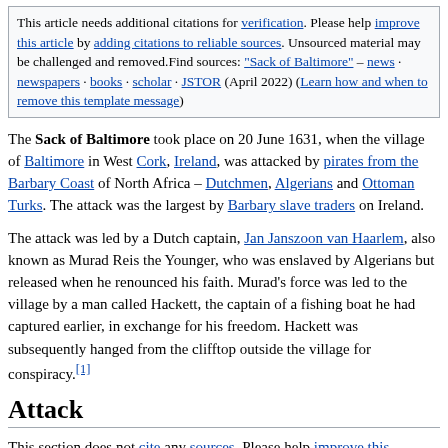This article needs additional citations for verification. Please help improve this article by adding citations to reliable sources. Unsourced material may be challenged and removed.Find sources: "Sack of Baltimore" – news · newspapers · books · scholar · JSTOR (April 2022) (Learn how and when to remove this template message)
The Sack of Baltimore took place on 20 June 1631, when the village of Baltimore in West Cork, Ireland, was attacked by pirates from the Barbary Coast of North Africa – Dutchmen, Algerians and Ottoman Turks. The attack was the largest by Barbary slave traders on Ireland.
The attack was led by a Dutch captain, Jan Janszoon van Haarlem, also known as Murad Reis the Younger, who was enslaved by Algerians but released when he renounced his faith. Murad's force was led to the village by a man called Hackett, the captain of a fishing boat he had captured earlier, in exchange for his freedom. Hackett was subsequently hanged from the clifftop outside the village for conspiracy.[1]
Attack
This section does not cite any sources. Please help improve this